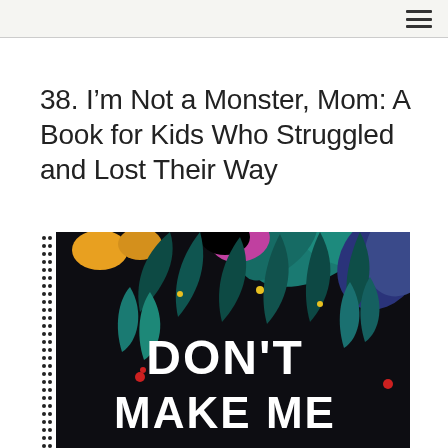38. I’m Not a Monster, Mom: A Book for Kids Who Struggled and Lost Their Way
[Figure (illustration): Book cover illustration with tropical leaves and foliage on black background with white text reading DON'T MAKE ME, with more text cut off at bottom. Decorative dotted border on left side.]